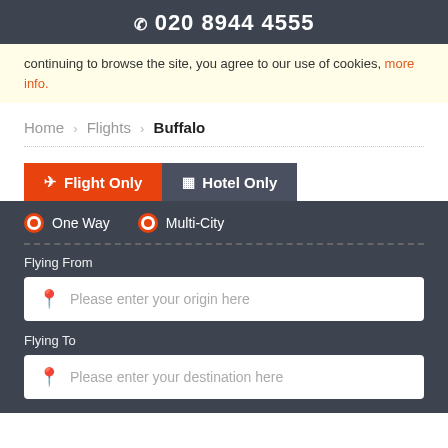☎ 020 8944 4555
continuing to browse the site, you agree to our use of cookies, more info.
Home > Flights > Buffalo
✈ Flight Only  🏨 Hotel Only
One Way  Multi-City
Flying From
Please enter your origin here
Flying To
Please enter your destination here